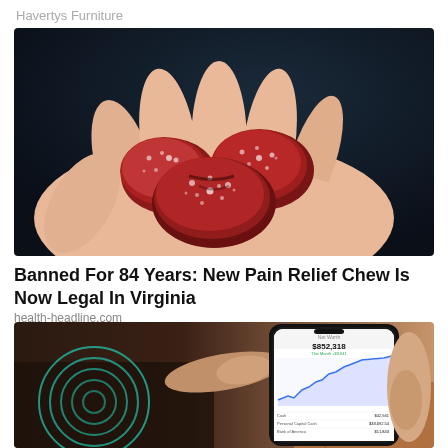Havertys Furniture
[Figure (photo): A hand holding several sugar-coated dark red gummy candy chews against a dark blue background]
Banned For 84 Years: New Pain Relief Chew Is Now Legal In Virginia
health-headline.com
[Figure (photo): Hands holding a smartphone displaying a financial app with a stock chart showing upward trend and account balance $852,318, with teal circular wave graphics on the left side]